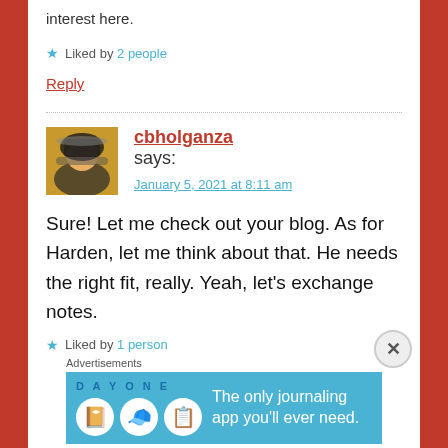interest here.
★ Liked by 2 people
Reply
cbholganza says:
January 5, 2021 at 8:11 am
Sure! Let me check out your blog. As for Harden, let me think about that. He needs the right fit, really. Yeah, let's exchange notes.
★ Liked by 1 person
Advertisements
[Figure (infographic): Day One journaling app advertisement banner with blue background, app icons, and text: 'The only journaling app you'll ever need.']